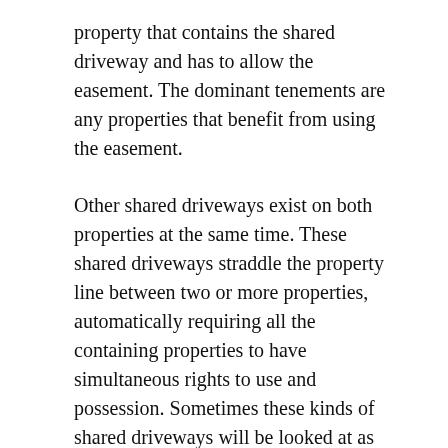property that contains the shared driveway and has to allow the easement. The dominant tenements are any properties that benefit from using the easement.
Other shared driveways exist on both properties at the same time. These shared driveways straddle the property line between two or more properties, automatically requiring all the containing properties to have simultaneous rights to use and possession. Sometimes these kinds of shared driveways will be looked at as no man's land areas or as every man's areas.